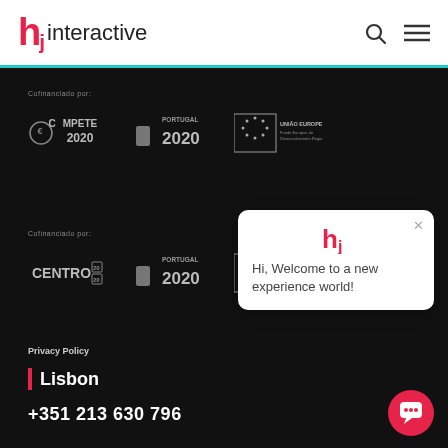[Figure (logo): hj interactive logo with teal underline navbar]
Cofinanciado por:
[Figure (logo): COMPETE 2020, Portugal 2020, União Europeia logos row]
Cofinanciado por:
[Figure (logo): CENTRO 2020, Portugal 2020, União Europeia logos row]
Privacy Policy
Lisbon
+351 213 630 796
[Figure (screenshot): Chat popup widget: Hi, Welcome to a new experience world!]